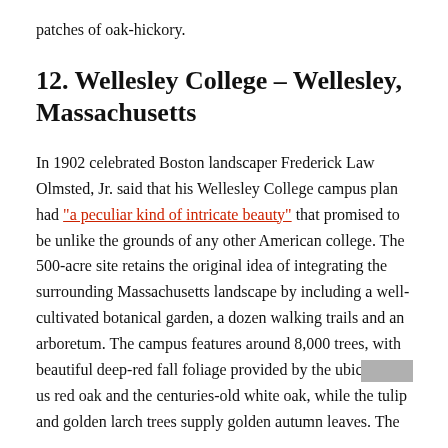patches of oak-hickory.
12.  Wellesley College – Wellesley, Massachusetts
In 1902 celebrated Boston landscaper Frederick Law Olmsted, Jr. said that his Wellesley College campus plan had "a peculiar kind of intricate beauty" that promised to be unlike the grounds of any other American college. The 500-acre site retains the original idea of integrating the surrounding Massachusetts landscape by including a well-cultivated botanical garden, a dozen walking trails and an arboretum. The campus features around 8,000 trees, with beautiful deep-red fall foliage provided by the ubiquitous red oak and the centuries-old white oak, while the tulip and golden larch trees supply golden autumn leaves. The